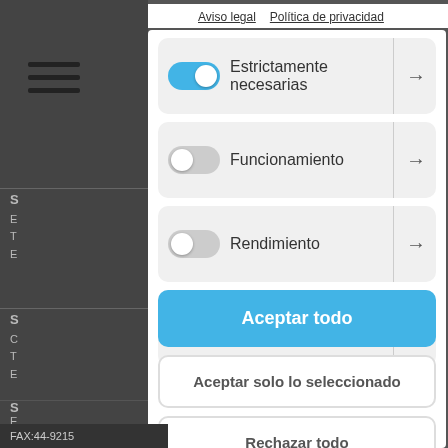[Figure (screenshot): Cookie consent modal overlay on a website. Shows toggle switches for: Estrictamente necesarias (on/blue), Funcionamiento (off), Rendimiento (off), Marketing / Terceros (off). Has three buttons: Aceptar todo (blue), Aceptar solo lo seleccionado, Rechazar todo. Links at top: Aviso legal, Política de privacidad. Background shows a dark sidebar with hamburger menu.]